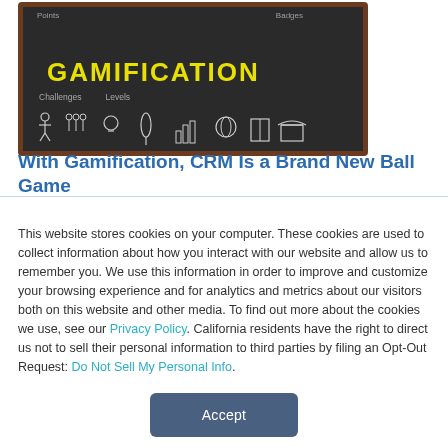[Figure (illustration): Chalkboard illustration with 'GAMIFICATION' in yellow letters and chalk-drawn icons for Points, Badges, Challenges, Levels, and other gamification elements]
With Gamification, CRM Is a Brand New Ball Game
This website stores cookies on your computer. These cookies are used to collect information about how you interact with our website and allow us to remember you. We use this information in order to improve and customize your browsing experience and for analytics and metrics about our visitors both on this website and other media. To find out more about the cookies we use, see our Privacy Policy. California residents have the right to direct us not to sell their personal information to third parties by filing an Opt-Out Request: Do Not Sell My Personal Info.